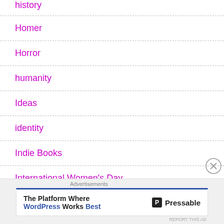history
Homer
Horror
humanity
Ideas
identity
Indie Books
International Women's Day
Islam
Advertisements
The Platform Where WordPress Works Best — Pressable